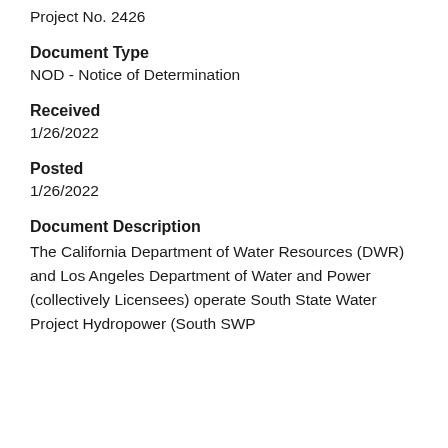Project No. 2426
Document Type
NOD - Notice of Determination
Received
1/26/2022
Posted
1/26/2022
Document Description
The California Department of Water Resources (DWR) and Los Angeles Department of Water and Power (collectively Licensees) operate South State Water Project Hydropower (South SWP